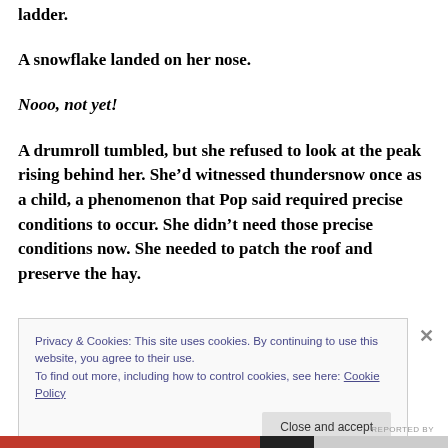ladder.
A snowflake landed on her nose.
Nooo, not yet!
A drumroll tumbled, but she refused to look at the peak rising behind her. She’d witnessed thundersnow once as a child, a phenomenon that Pop said required precise conditions to occur. She didn’t need those precise conditions now. She needed to patch the roof and preserve the hay.
Privacy & Cookies: This site uses cookies. By continuing to use this website, you agree to their use. To find out more, including how to control cookies, see here: Cookie Policy
Close and accept